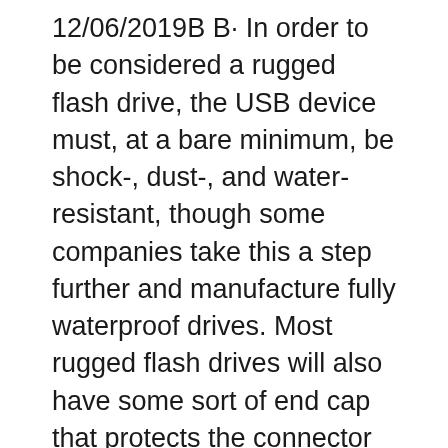12/06/2019В В· In order to be considered a rugged flash drive, the USB device must, at a bare minimum, be shock-, dust-, and water-resistant, though some companies take this a step further and manufacture fully waterproof drives. Most rugged flash drives will also have some sort of end cap that protects the connector when it is not plugged into a computer.
PNYвЂ™s 1TB PRO Elite USB 3.0, which was announced in mid-March, is a large capacity, high-performance USB flash drive. The PRO Elite USB 3.0 is an optimal solution for transferring, sharing, and storing large files, all the